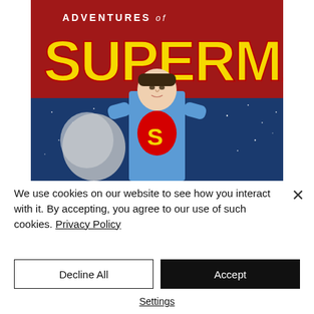[Figure (illustration): Adventures of Superman TV show promotional poster. Red background on top with bold yellow 3D letters reading 'SUPERMAN' and 'ADVENTURES of' in white above. Bottom half shows a man in a Superman costume (blue suit with red and yellow S shield) standing with hands on hips against a dark blue starry sky background with a moon or planet visible to the left.]
We use cookies on our website to see how you interact with it. By accepting, you agree to our use of such cookies. Privacy Policy
Decline All
Accept
Settings